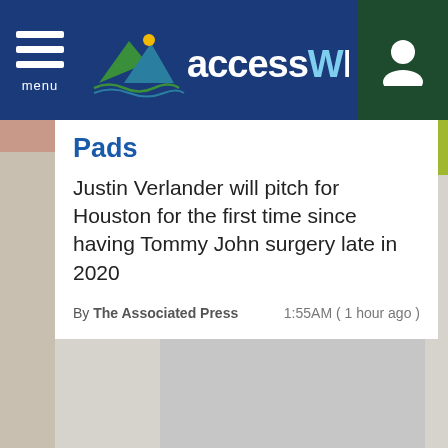accessWDUN
Pads
Justin Verlander will pitch for Houston for the first time since having Tommy John surgery late in 2020
By The Associated Press   1:55AM ( 1 hour ago )
[Figure (other): Gray advertisement placeholder box]